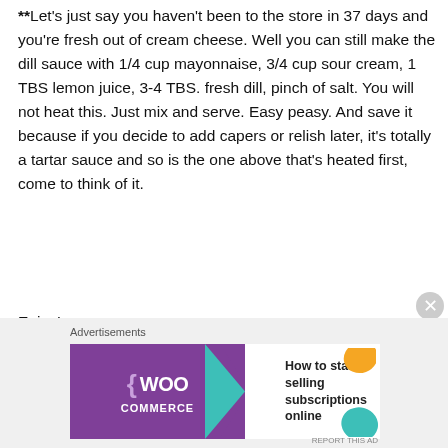**Let's just say you haven't been to the store in 37 days and you're fresh out of cream cheese. Well you can still make the dill sauce with 1/4 cup mayonnaise, 3/4 cup sour cream, 1 TBS lemon juice, 3-4 TBS. fresh dill, pinch of salt. You will not heat this. Just mix and serve. Easy peasy. And save it because if you decide to add capers or relish later, it's totally a tartar sauce and so is the one above that's heated first, come to think of it.
Enjoy!
[Figure (other): WooCommerce advertisement banner with purple background, teal arrow, and text reading 'How to start selling subscriptions online']